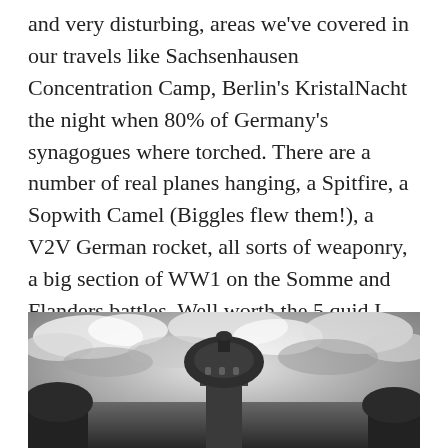and very disturbing, areas we've covered in our travels like Sachsenhausen Concentration Camp, Berlin's KristalNacht the night when 80% of Germany's synagogues where torched. There are a number of real planes hanging, a Spitfire, a Sopwith Camel (Biggles flew them!), a V2V German rocket, all sorts of weaponry, a big section of WW1 on the Somme and Flanders battles. Well worth the 5 quid I reckon.
[Figure (photo): Black and white photograph of a domed building or monument photographed from below against a dramatic cloudy sky.]